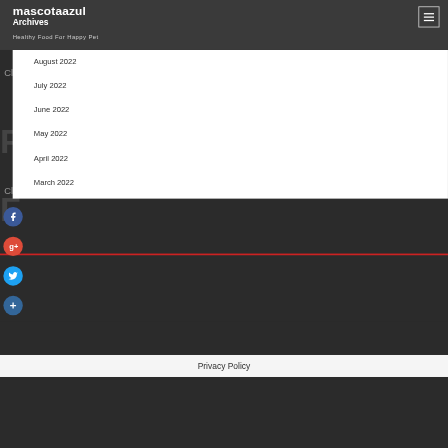mascotaazul – Archives – Healthy Food For Happy Pet
August 2022
July 2022
June 2022
May 2022
April 2022
March 2022
Proudly powered by WordPress | Theme: Wpazure by azure
Privacy Policy